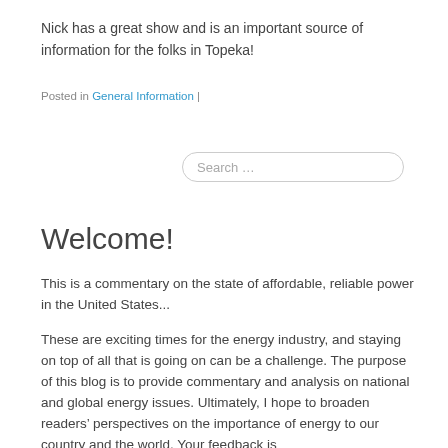Nick has a great show and is an important source of information for the folks in Topeka!
Posted in General Information |
[Figure (other): Search input field with placeholder text 'Search ...']
Welcome!
This is a commentary on the state of affordable, reliable power in the United States...
These are exciting times for the energy industry, and staying on top of all that is going on can be a challenge. The purpose of this blog is to provide commentary and analysis on national and global energy issues. Ultimately, I hope to broaden readers' perspectives on the importance of energy to our country and the world. Your feedback is